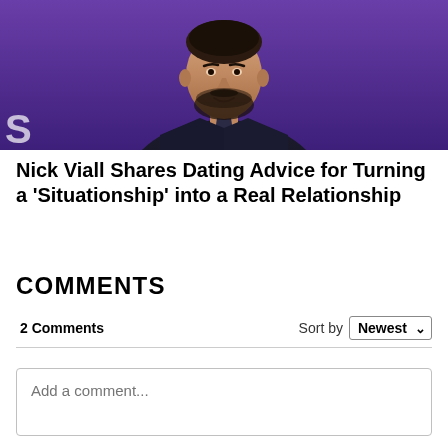[Figure (photo): Photo of Nick Viall, a man with dark hair and beard wearing a dark suit and tie, photographed against a purple background]
Nick Viall Shares Dating Advice for Turning a 'Situationship' into a Real Relationship
COMMENTS
2 Comments
Sort by Newest